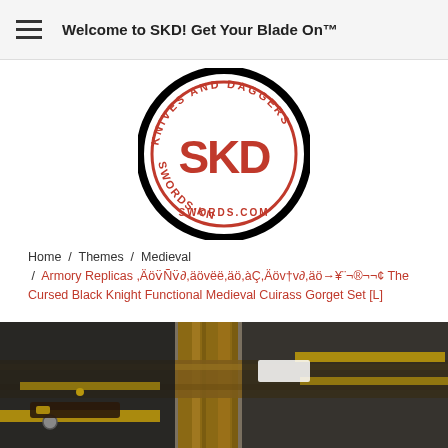Welcome to SKD! Get Your Blade On™
[Figure (logo): SKD Swords Knives and Daggers circular logo with red SKD letters in center, black border with text around ring]
Home / Themes / Medieval / Armory Replicas ,Äöv̈Ñv̈∂,äövëë,äö,àÇ,Äöv†v∂,äö→¥¨¬®¬¬¢ The Cursed Black Knight Functional Medieval Cuirass Gorget Set [L]
[Figure (photo): Close-up photo of a black leather and brass-trimmed medieval cuirass gorget armor set displayed on a wooden stand]